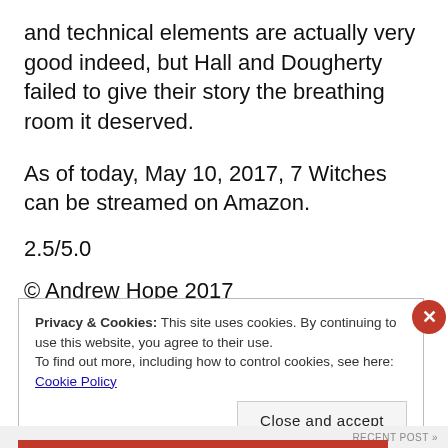and technical elements are actually very good indeed, but Hall and Dougherty failed to give their story the breathing room it deserved.
As of today, May 10, 2017, 7 Witches can be streamed on Amazon.
2.5/5.0
© Andrew Hope 2017
Privacy & Cookies: This site uses cookies. By continuing to use this website, you agree to their use.
To find out more, including how to control cookies, see here: Cookie Policy